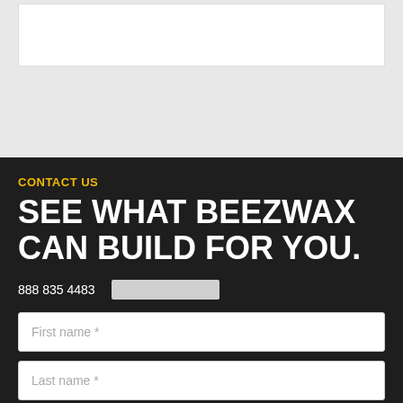CONTACT US
SEE WHAT BEEZWAX CAN BUILD FOR YOU.
888 835 4483
First name *
Last name *